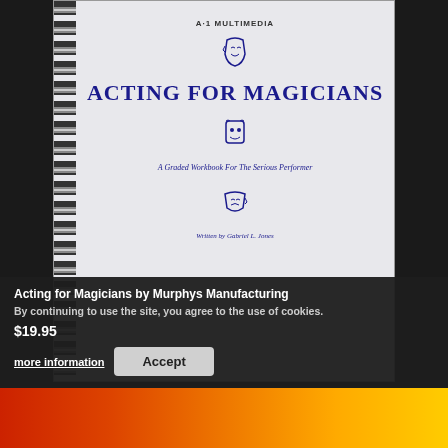[Figure (photo): A spiral-bound book cover titled 'Acting for Magicians' by A1 Multimedia, with theater mask icons and subtitle 'A Graded Workbook For The Serious Performer', written by Gabriel L. Jones]
Acting for Magicians by Murphys Manufacturing
By continuing to use the site, you agree to the use of cookies.
$19.95
more information
Accept